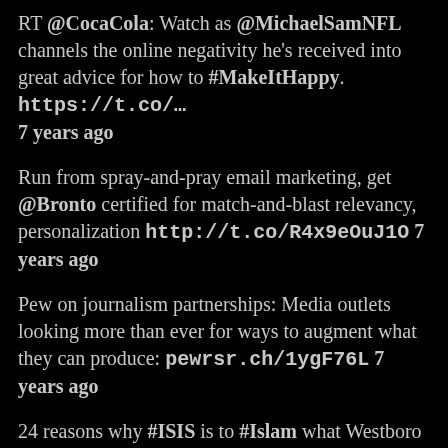RT @CocaCola: Watch as @MichaelSamNFL channels the online negativity he's received into great advice for how to #MakeItHappy. https://t.co/… 7 years ago
Run from spray-and-pray email marketing, get @Bronto certified for match-and-blast relevancy, personalization http://t.co/R4x9eOuJ1O 7 years ago
Pew on journalism partnerships: Media outlets looking more than ever for ways to augment what they can produce: pewrsr.ch/1ygF76L 7 years ago
24 reasons why #ISIS is to #Islam what Westboro Baptist Church is to Christianity, according to 126 Muslim scholars: lettertobaghdadi.com/14/english-v14… 7 years ago
RT @WoWFacts17: Our eyes are always the same size from birth but our nose and ears never stop growing